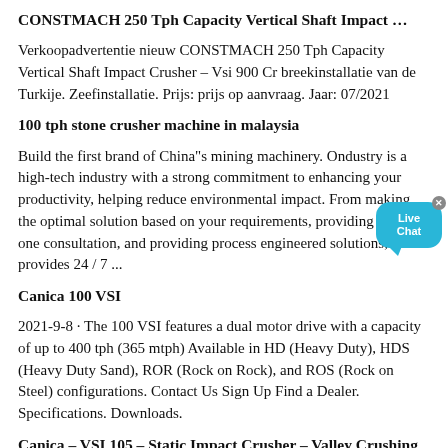CONSTMACH 250 Tph Capacity Vertical Shaft Impact …
Verkoopadvertentie nieuw CONSTMACH 250 Tph Capacity Vertical Shaft Impact Crusher – Vsi 900 Cr breekinstallatie van de Turkije. Zeefinstallatie. Prijs: prijs op aanvraag. Jaar: 07/2021
100 tph stone crusher machine in malaysia
Build the first brand of China"s mining machinery. Ondustry is a high-tech industry with a strong commitment to enhancing your productivity, helping reduce environmental impact. From making the optimal solution based on your requirements, providing one-on-one consultation, and providing process engineered solutions, provides 24 / 7 ...
Canica 100 VSI
2021-9-8 · The 100 VSI features a dual motor drive with a capacity of up to 400 tph (365 mtph) Available in HD (Heavy Duty), HDS (Heavy Duty Sand), ROR (Rock on Rock), and ROS (Rock on Steel) configurations. Contact Us Sign Up Find a Dealer. Specifications. Downloads.
Canica – VSI 105 – Static Impact Crusher – Valley Crushing ...
Description. Heavy-duty bearing pedestal, Astralloy main shaft Cast chrome pedestal protection Patented "Hydralid" hydraulic lid lifter Externally adjustable feed tube system Cast feed tube Cast lid and mainframe liners Heavy-duty motor mounts with motor covers …